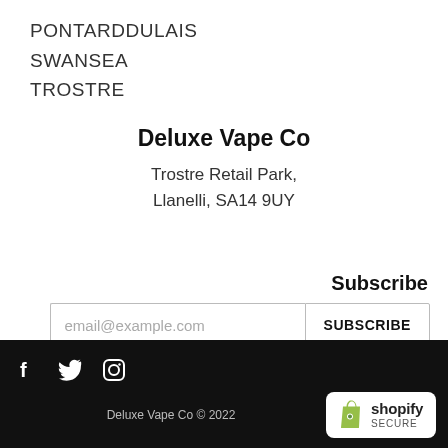PONTARDDULAIS
SWANSEA
TROSTRE
Deluxe Vape Co
Trostre Retail Park,
Llanelli, SA14 9UY
Subscribe
email@example.com
SUBSCRIBE
[Figure (logo): Social media icons: Facebook, Twitter, Instagram on black footer bar]
Deluxe Vape Co © 2022
[Figure (logo): Shopify Secure badge: green shopping bag logo with 'shopify SECURE' text on white rounded rectangle]